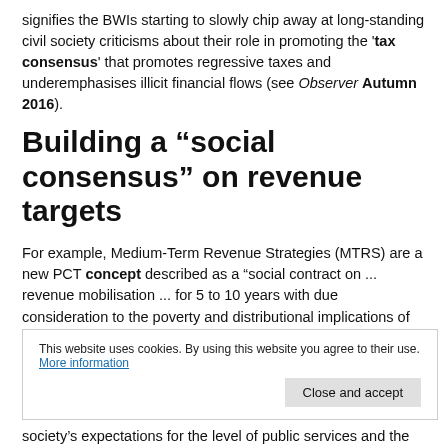signifies the BWIs starting to slowly chip away at long-standing civil society criticisms about their role in promoting the 'tax consensus' that promotes regressive taxes and underemphasises illicit financial flows (see Observer Autumn 2016).
Building a “social consensus” on revenue targets
For example, Medium-Term Revenue Strategies (MTRS) are a new PCT concept described as a “social contract on ... revenue mobilisation ... for 5 to 10 years with due consideration to the poverty and distributional implications of the associated measures”. It is a process for
This website uses cookies. By using this website you agree to their use. More information
Close and accept
society’s expectations for the level of public services and the